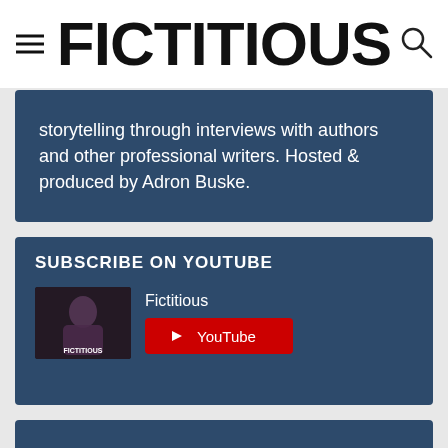FICTITIOUS
storytelling through interviews with authors and other professional writers. Hosted & produced by Adron Buske.
SUBSCRIBE ON YOUTUBE
Fictitious
[Figure (logo): YouTube subscribe button with red background and play icon]
[Figure (logo): Apple Podcasts badge: Listen on Apple Podcasts with purple podcast icon]